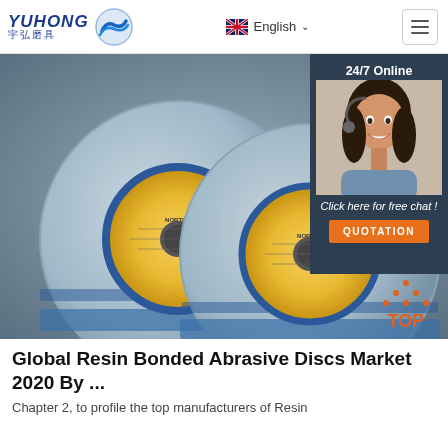[Figure (logo): YUHONG logo with Chinese characters 宇弘磨具 and blue wave icon]
[Figure (photo): Two blue grinding/abrasive discs with yellow and blue labels on grey background, with a 24/7 online chat overlay showing a female customer service agent and QUOTATION button]
Global Resin Bonded Abrasive Discs Market 2020 By ...
Chapter 2, to profile the top manufacturers of Resin